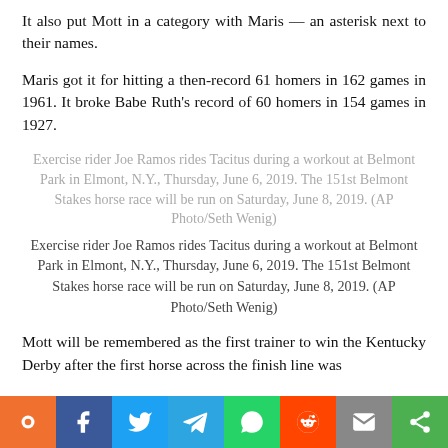It also put Mott in a category with Maris — an asterisk next to their names.
Maris got it for hitting a then-record 61 homers in 162 games in 1961. It broke Babe Ruth's record of 60 homers in 154 games in 1927.
Exercise rider Joe Ramos rides Tacitus during a workout at Belmont Park in Elmont, N.Y., Thursday, June 6, 2019. The 151st Belmont Stakes horse race will be run on Saturday, June 8, 2019. (AP Photo/Seth Wenig)
Exercise rider Joe Ramos rides Tacitus during a workout at Belmont Park in Elmont, N.Y., Thursday, June 6, 2019. The 151st Belmont Stakes horse race will be run on Saturday, June 8, 2019. (AP Photo/Seth Wenig)
Mott will be remembered as the first trainer to win the Kentucky Derby after the first horse across the finish line was